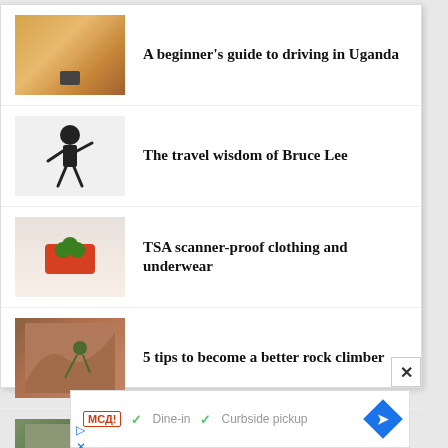A beginner's guide to driving in Uganda
The travel wisdom of Bruce Lee
TSA scanner-proof clothing and underwear
5 tips to become a better rock climber
Tweens vs. teargas: Protest over education in Chile
[Figure (screenshot): Advertisement banner showing McD logo, checkmarks for Dine-in and Curbside pickup, and a blue navigation diamond icon]